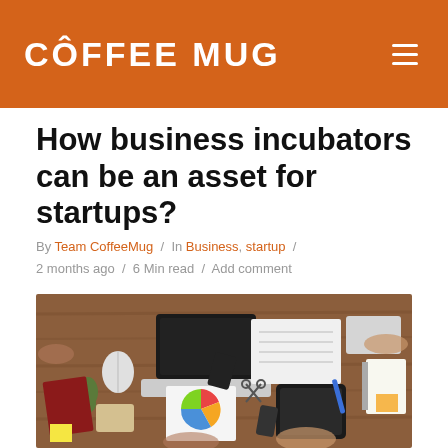COFFEE MUG
How business incubators can be an asset for startups?
By Team CoffeeMug / In Business, startup / 2 months ago / 6 Min read / Add comment
[Figure (photo): Overhead view of business people sitting around a wooden table with a laptop, tablet, documents with a pie chart, calculator, plant, notebooks, and various office items, collaborating in a meeting.]